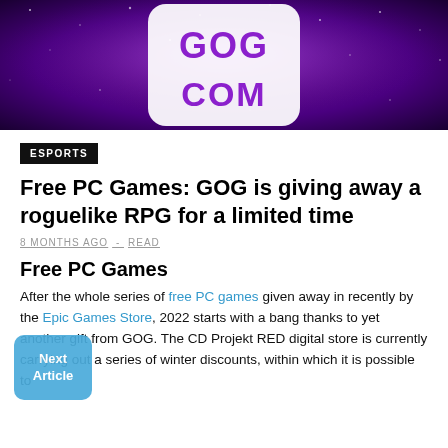[Figure (screenshot): GOG.COM logo banner on a purple starfield background. Large white rounded rectangle contains stylized purple 'GOG' text on top and 'COM' text below, all caps, on a deep purple/violet galaxy background.]
ESPORTS
Free PC Games: GOG is giving away a roguelike RPG for a limited time
8 MONTHS AGO  -  READ
Free PC Games
After the whole series of free PC games given away in recently by the Epic Games Store, 2022 starts with a bang thanks to yet another gift from GOG. The CD Projekt RED digital store is currently carrying out a series of winter discounts, within which it is possible to